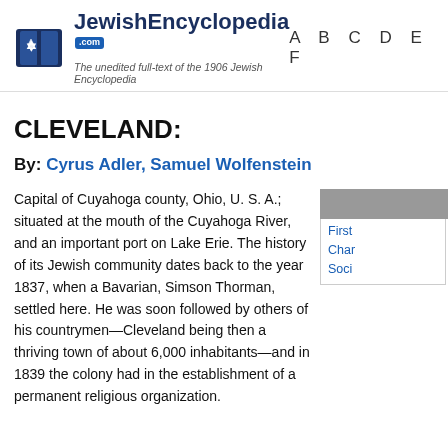JewishEncyclopedia.com — The unedited full-text of the 1906 Jewish Encyclopedia — A B C D E ...
CLEVELAND:
By: Cyrus Adler, Samuel Wolfenstein
Capital of Cuyahoga county, Ohio, U. S. A.; situated at the mouth of the Cuyahoga River, and an important port on Lake Erie. The history of its Jewish community dates back to the year 1837, when a Bavarian, Simson Thorman, settled here. He was soon followed by others of his countrymen—Cleveland being then a thriving town of about 6,000 inhabitants—and in 1839 the colony had in the establishment of a permanent religious organization.
First
Char
Soci